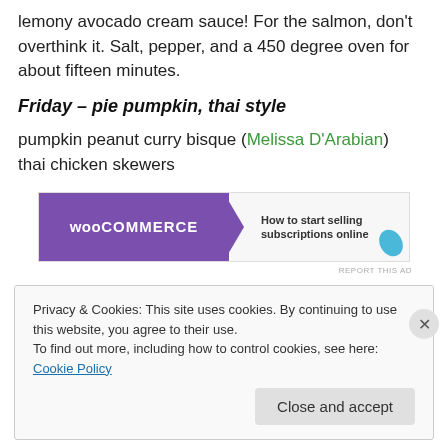lemony avocado cream sauce! For the salmon, don't overthink it. Salt, pepper, and a 450 degree oven for about fifteen minutes.
Friday – pie pumpkin, thai style
pumpkin peanut curry bisque (Melissa D'Arabian)
thai chicken skewers
[Figure (other): WooCommerce advertisement banner: 'How to start selling subscriptions online']
REPORT THIS AD
Privacy & Cookies: This site uses cookies. By continuing to use this website, you agree to their use.
To find out more, including how to control cookies, see here: Cookie Policy